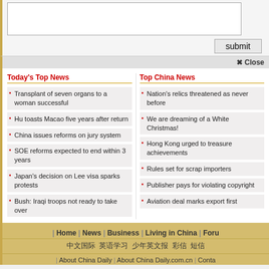[Figure (screenshot): Text area input box (form element)]
submit
Close
Today's Top News
Transplant of seven organs to a woman successful
Hu toasts Macao five years after return
China issues reforms on jury system
SOE reforms expected to end within 3 years
Japan's decision on Lee visa sparks protests
Bush: Iraqi troops not ready to take over
Top China News
Nation's relics threatened as never before
We are dreaming of a White Christmas!
Hong Kong urged to treasure achievements
Rules set for scrap importers
Publisher pays for violating copyright
Aviation deal marks export first
Home | News | Business | Living in China | Forum
中文国际 英语学习 少年英文报 彩信 短信
About China Daily | About China Daily.com.cn | Conta